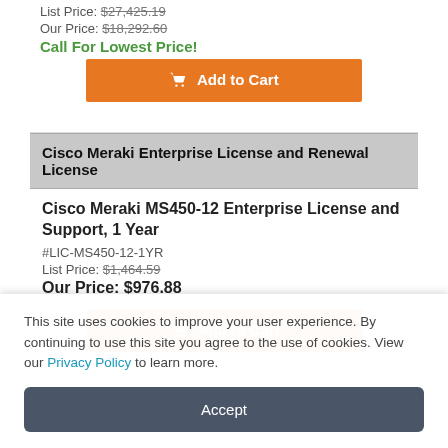List Price: $27,425.19
Our Price: $18,292.60
Call For Lowest Price!
Add to Cart
Cisco Meraki Enterprise License and Renewal License
Cisco Meraki MS450-12 Enterprise License and Support, 1 Year
#LIC-MS450-12-1YR
List Price: $1,464.59
Our Price: $976.88
Add to Cart
Cisco Meraki MS450-12 Enterprise License and
This site uses cookies to improve your user experience. By continuing to use this site you agree to the use of cookies. View our Privacy Policy to learn more.
Accept